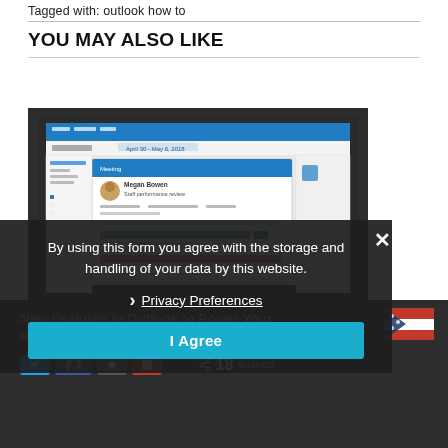Tagged with: outlook how to
YOU MAY ALSO LIKE
[Figure (screenshot): Screenshot of Microsoft Outlook calendar/appointment interface showing a meeting with Megan Bowen, Staff performance review, with colored calendar bars (green, red/pink)]
By using this form you agree with the storage and handling of your data by this website.
Privacy Preferences
I Agree
New Features In Outlook to Power Your Productivity
18 SHARES